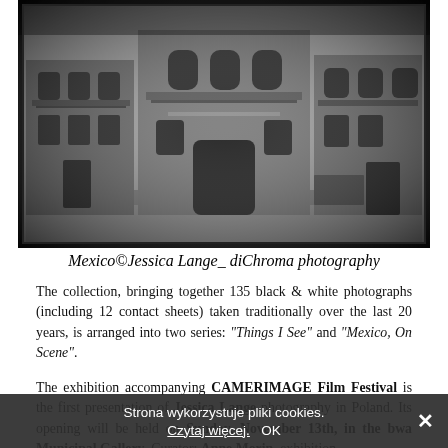[Figure (photo): Black and white photograph of three old, partially ruined ornate buildings with balconies and arched windows, taken in Mexico. Classic film photography style with dark borders.]
Mexico©Jessica Lange_ diChroma photography
The collection, bringing together 135 black & white photographs (including 12 contact sheets) taken traditionally over the last 20 years, is arranged into two series: "Things I See" and "Mexico, On Scene".
The exhibition accompanying CAMERIMAGE Film Festival is the first presentation of Jessica Lange photography in Poland. Its opening will be held on Sunday, November 13th, in the bwa Municipal Gallery. Curator: Anne Morin, exhibition
Strona wykorzystuje pliki cookies.
Czytaj więcej.   OK